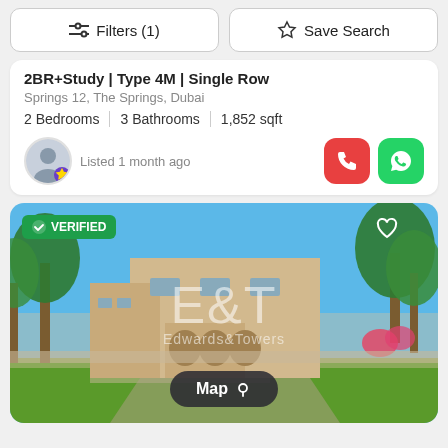Filters (1)
Save Search
2BR+Study | Type 4M | Single Row
Springs 12, The Springs, Dubai
2 Bedrooms | 3 Bathrooms | 1,852 sqft
Listed 1 month ago
[Figure (photo): Exterior photo of a villa/townhouse property in The Springs, Dubai, with green lawn, beige walls, and trees. Watermark 'E&T Edwards&Towers' visible. Has VERIFIED badge, heart icon, dots icon, and Map button overlay.]